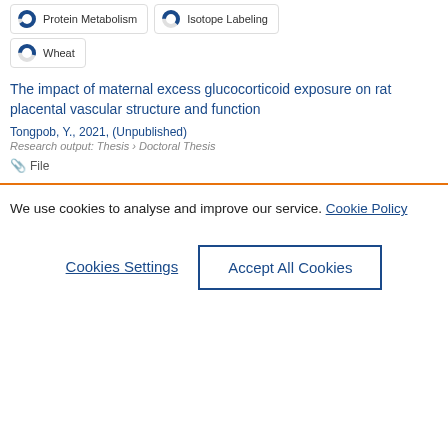Protein Metabolism
Isotope Labeling
Wheat
The impact of maternal excess glucocorticoid exposure on rat placental vascular structure and function
Tongpob, Y., 2021, (Unpublished)
Research output: Thesis › Doctoral Thesis
📎 File
We use cookies to analyse and improve our service. Cookie Policy
Cookies Settings
Accept All Cookies